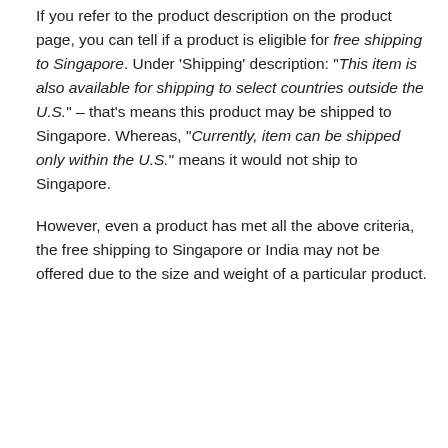If you refer to the product description on the product page, you can tell if a product is eligible for free shipping to Singapore. Under 'Shipping' description: "This item is also available for shipping to select countries outside the U.S." – that's means this product may be shipped to Singapore. Whereas, "Currently, item can be shipped only within the U.S." means it would not ship to Singapore.
However, even a product has met all the above criteria, the free shipping to Singapore or India may not be offered due to the size and weight of a particular product.